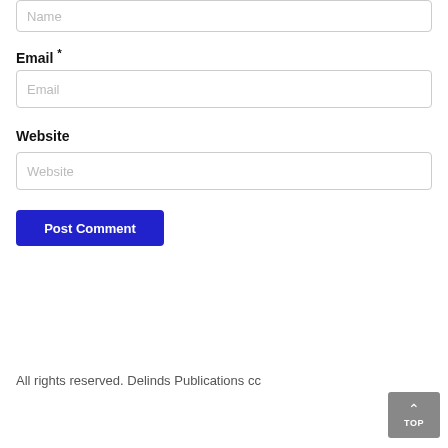Name (placeholder input field)
Email *
Email (placeholder input field)
Website
Website (placeholder input field)
Post Comment
All rights reserved. Delinds Publications cc